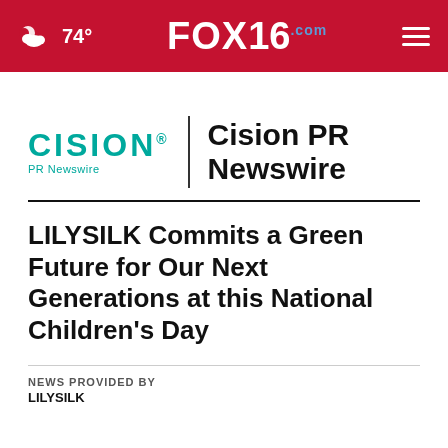74° FOX16.com
[Figure (logo): Cision PR Newswire logo with teal CISION wordmark and 'PR Newswire' subtitle, vertical divider, and bold black 'Cision PR Newswire' text]
LILYSILK Commits a Green Future for Our Next Generations at this National Children's Day
NEWS PROVIDED BY
LILYSILK